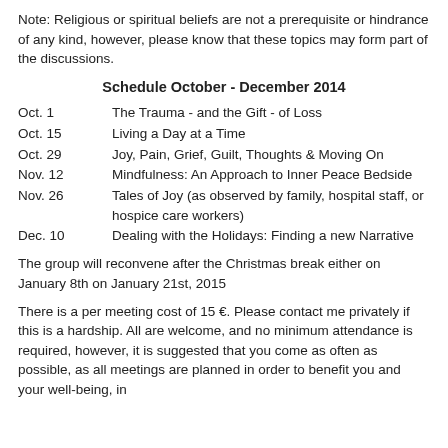Note: Religious or spiritual beliefs are not a prerequisite or hindrance of any kind, however, please know that these topics may form part of the discussions.
Schedule October - December 2014
| Date | Topic |
| --- | --- |
| Oct. 1 | The Trauma - and the Gift - of Loss |
| Oct. 15 | Living a Day at a Time |
| Oct. 29 | Joy, Pain, Grief, Guilt, Thoughts & Moving On |
| Nov. 12 | Mindfulness: An Approach to Inner Peace Bedside |
| Nov. 26 | Tales of Joy (as observed by family, hospital staff, or hospice care workers) |
| Dec. 10 | Dealing with the Holidays: Finding a new Narrative |
The group will reconvene after the Christmas break either on January 8th on January 21st, 2015
There is a per meeting cost of 15 €. Please contact me privately if this is a hardship. All are welcome, and no minimum attendance is required, however, it is suggested that you come as often as possible, as all meetings are planned in order to benefit you and your well-being, in